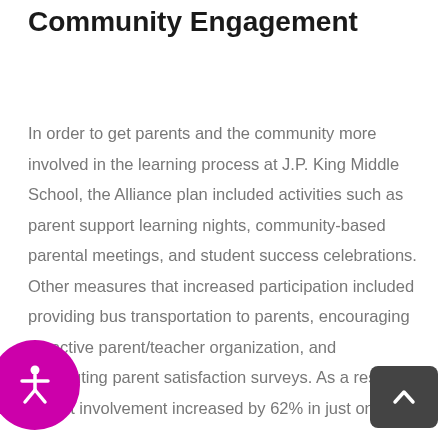Community Engagement
In order to get parents and the community more involved in the learning process at J.P. King Middle School, the Alliance plan included activities such as parent support learning nights, community-based parental meetings, and student success celebrations. Other measures that increased participation included providing bus transportation to parents, encouraging an active parent/teacher organization, and distributing parent satisfaction surveys. As a result, parent involvement increased by 62% in just one year.